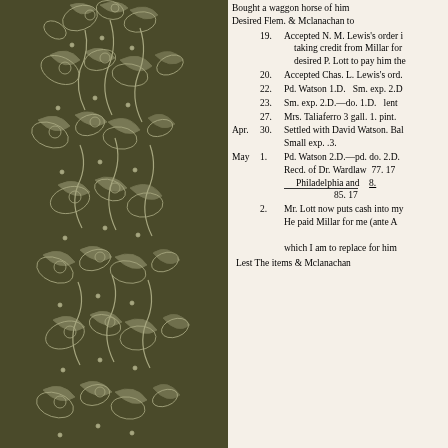[Figure (illustration): Decorative floral border pattern in dark olive/brown with white botanical motifs covering left portion of page]
Bought a waggon horse of him
Desired Flem. & Mclanachan to
19. Accepted N. M. Lewis's order i taking credit from Millar for desired P. Lott to pay him the
20. Accepted Chas. L. Lewis's ord.
22. Pd. Watson 1.D. Sm. exp. 2.D
23. Sm. exp. 2.D.—do. 1.D. lent
27. Mrs. Taliaferro 3 gall. 1. pint.
Apr. 30. Settled with David Watson. Bal Small exp. .3.
May 1. Pd. Watson 2.D.—pd. do. 2.D. Recd. of Dr. Wardlaw 77. 17 Philadelphia and 8. [total] 85. 17
2. Mr. Lott now puts cash into my He paid Millar for me (ante A which I am to replace for him
Lest The items & Mclanachan